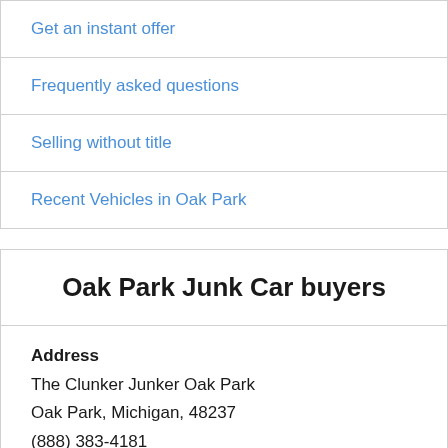Get an instant offer
Frequently asked questions
Selling without title
Recent Vehicles in Oak Park
Oak Park Junk Car buyers
Address
The Clunker Junker Oak Park
Oak Park, Michigan, 48237
(888) 383-4181
support@theclunkerjunker.com
Business Hours